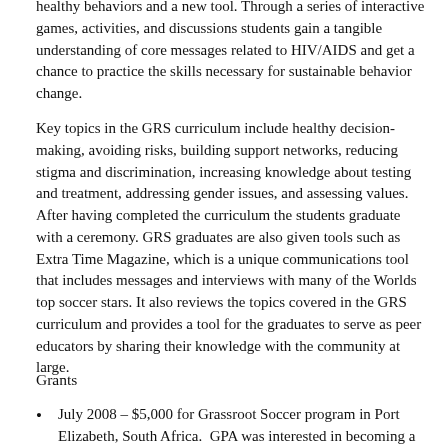healthy behaviors and a new tool. Through a series of interactive games, activities, and discussions students gain a tangible understanding of core messages related to HIV/AIDS and get a chance to practice the skills necessary for sustainable behavior change.
Key topics in the GRS curriculum include healthy decision-making, avoiding risks, building support networks, reducing stigma and discrimination, increasing knowledge about testing and treatment, addressing gender issues, and assessing values. After having completed the curriculum the students graduate with a ceremony. GRS graduates are also given tools such as Extra Time Magazine, which is a unique communications tool that includes messages and interviews with many of the Worlds top soccer stars. It also reviews the topics covered in the GRS curriculum and provides a tool for the graduates to serve as peer educators by sharing their knowledge with the community at large.
Grants
July 2008 – $5,000 for Grassroot Soccer program in Port Elizabeth, South Africa.  GPA was interested in becoming a